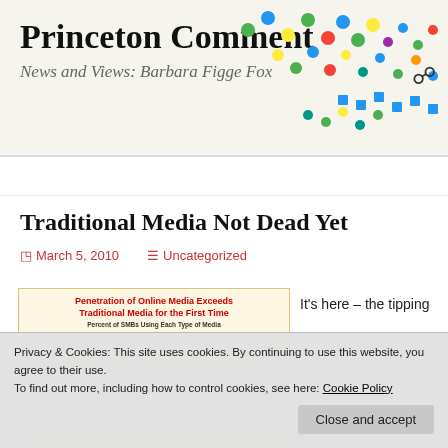Princeton Comment
News and Views: Barbara Figge Fox
Traditional Media Not Dead Yet
March 5, 2010   Uncategorized
[Figure (infographic): Infographic titled 'Penetration of Online Media Exceeds Traditional Media for the First Time' showing percent of SMBs using each type of media. Beige background with red bold title text and bar chart area.]
It's here – the tipping
Privacy & Cookies: This site uses cookies. By continuing to use this website, you agree to their use.
To find out more, including how to control cookies, see here: Cookie Policy
Close and accept